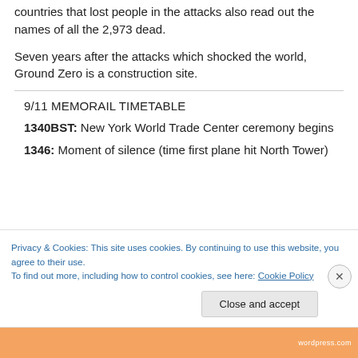Family members and students representing the 90 countries that lost people in the attacks also read out the names of all the 2,973 dead.
Seven years after the attacks which shocked the world, Ground Zero is a construction site.
9/11 MEMORAIL TIMETABLE
1340BST: New York World Trade Center ceremony begins
1346: Moment of silence (time first plane hit North Tower)
Privacy & Cookies: This site uses cookies. By continuing to use this website, you agree to their use.
To find out more, including how to control cookies, see here: Cookie Policy
Close and accept